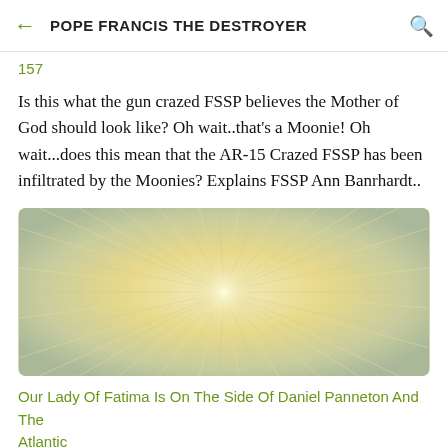POPE FRANCIS THE DESTROYER
157
Is this what the gun crazed FSSP believes the Mother of God should look like? Oh wait..that's a Moonie! Oh wait...does this mean that the AR-15 Crazed FSSP has been infiltrated by the Moonies? Explains FSSP Ann Banrhardt..
[Figure (photo): Close-up painting or artwork showing a radiant sunburst pattern with cream, yellow, and blue-grey brushstroke textures, rounded rectangle frame.]
Our Lady Of Fatima Is On The Side Of Daniel Panneton And The Atlantic